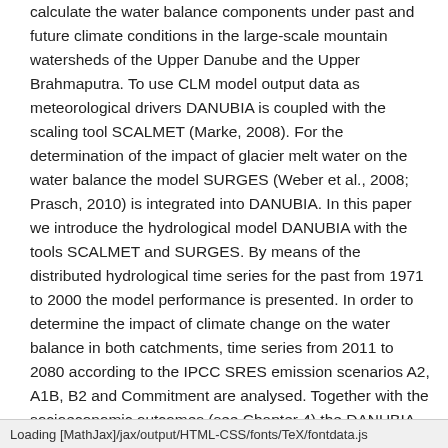calculate the water balance components under past and future climate conditions in the large-scale mountain watersheds of the Upper Danube and the Upper Brahmaputra. To use CLM model output data as meteorological drivers DANUBIA is coupled with the scaling tool SCALMET (Marke, 2008). For the determination of the impact of glacier melt water on the water balance the model SURGES (Weber et al., 2008; Prasch, 2010) is integrated into DANUBIA. In this paper we introduce the hydrological model DANUBIA with the tools SCALMET and SURGES. By means of the distributed hydrological time series for the past from 1971 to 2000 the model performance is presented. In order to determine the impact of climate change on the water balance in both catchments, time series from 2011 to 2080 according to the IPCC SRES emission scenarios A2, A1B, B2 and Commitment are analysed. Together with the socioeconomic outcomes (see Chapter 4) the DANUBIA
Loading [MathJax]/jax/output/HTML-CSS/fonts/TeX/fontdata.js